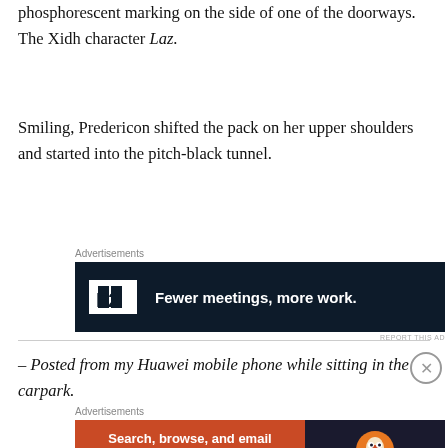phosphorescent marking on the side of one of the doorways. The Xidh character Laz.
[Figure (other): Advertisement banner for Twist (P2): dark navy background with white logo and text 'Fewer meetings, more work.']
Smiling, Predericon shifted the pack on her upper shoulders and started into the pitch-black tunnel.
– Posted from my Huawei mobile phone while sitting in the carpark.
[Figure (other): Advertisement banner for DuckDuckGo: orange left panel with text 'Search, browse, and email with more privacy. All in One Free App' and dark right panel with DuckDuckGo logo.]